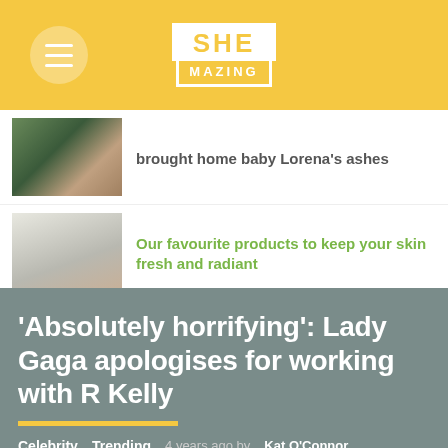SHE MAZING
brought home baby Lorena's ashes
Our favourite products to keep your skin fresh and radiant
'Absolutely horrifying': Lady Gaga apologises for working with R Kelly
Celebrity   Trending   4 years ago by Kat O'Connor
[Figure (photo): Bottom of page shows partial photo of person with blue hair bun, blue/gray tones]